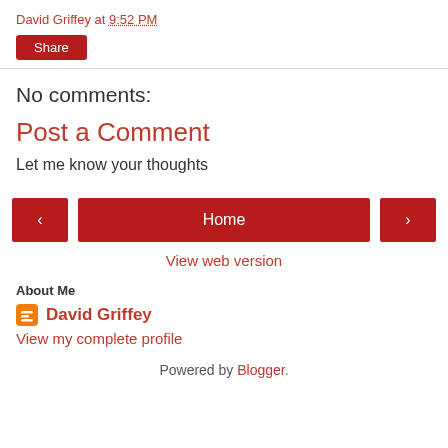David Griffey at 9:52 PM
Share
No comments:
Post a Comment
Let me know your thoughts
‹ Home ›
View web version
About Me
David Griffey
View my complete profile
Powered by Blogger.